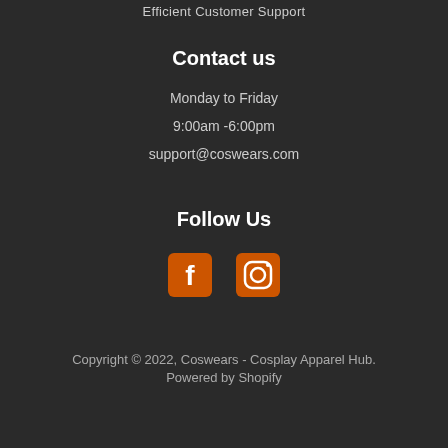Efficient Customer Support
Contact us
Monday to Friday
9:00am -6:00pm
support@coswears.com
Follow Us
[Figure (other): Facebook and Instagram social media icons in orange color]
Copyright © 2022, Coswears - Cosplay Apparel Hub.
Powered by Shopify